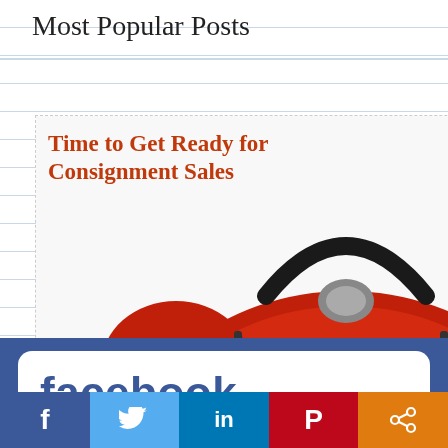Most Popular Posts
Time to Get Ready for Consignment Sales
[Figure (photo): A red vintage alarm clock showing approximately 12:00, with 'StaplerConfessions.com' watermark on the clock face]
[Figure (photo): Facebook logo banner with blue background and white rounded rectangle containing the word 'facebook']
[Figure (infographic): Social media sharing bar with five buttons: Facebook (dark blue, f icon), Twitter (light blue, bird icon), LinkedIn (blue, in icon), Pinterest (red, P icon), Share (orange, < icon)]